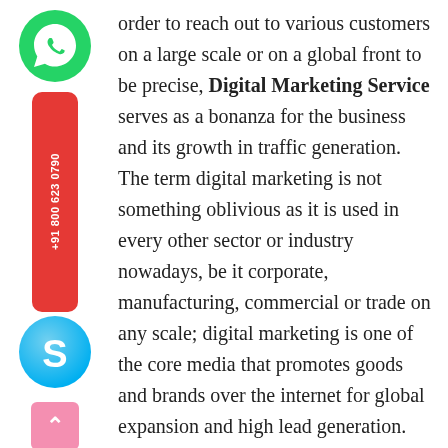[Figure (illustration): WhatsApp green phone icon (circle with phone handset)]
[Figure (illustration): Red vertical badge with text '+91 800 623 0790' in white, rotated 90 degrees]
[Figure (illustration): Skype blue 'S' logo icon (circle with S)]
[Figure (illustration): Pink/salmon rounded square scroll-to-top button with upward caret arrow]
order to reach out to various customers on a large scale or on a global front to be precise, Digital Marketing Service serves as a bonanza for the business and its growth in traffic generation. The term digital marketing is not something oblivious as it is used in every other sector or industry nowadays, be it corporate, manufacturing, commercial or trade on any scale; digital marketing is one of the core media that promotes goods and brands over the internet for global expansion and high lead generation. Although earlier, the marketing strategies were limited to few resources such as newspapers, pamphlets, television, radio, etc., which were basic but too expensive to be used by every company in the market.